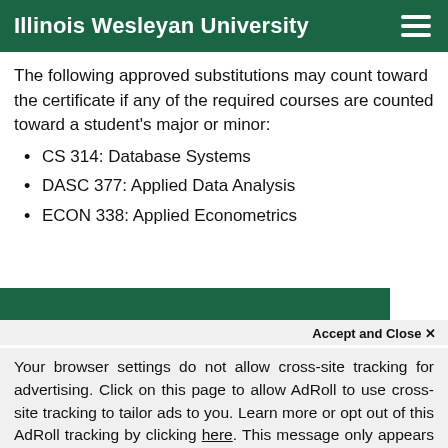Illinois Wesleyan University
The following approved substitutions may count toward the certificate if any of the required courses are counted toward a student's major or minor:
CS 314: Database Systems
DASC 377: Applied Data Analysis
ECON 338: Applied Econometrics
We use cookies to improve your experience on our website. By continuing to use our site...
Your browser settings do not allow cross-site tracking for advertising. Click on this page to allow AdRoll to use cross-site tracking to tailor ads to you. Learn more or opt out of this AdRoll tracking by clicking here. This message only appears once.